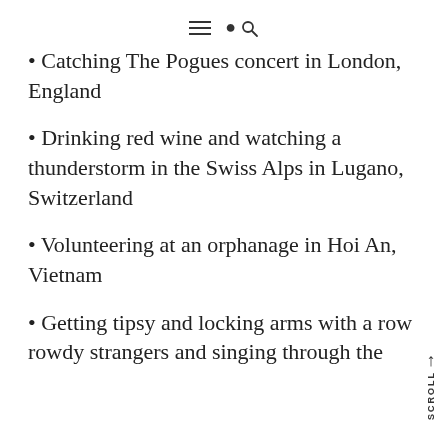≡ 🔍
• Catching The Pogues concert in London, England
• Drinking red wine and watching a thunderstorm in the Swiss Alps in Lugano, Switzerland
• Volunteering at an orphanage in Hoi An, Vietnam
• Getting tipsy and locking arms with a row rowdy strangers and singing through the